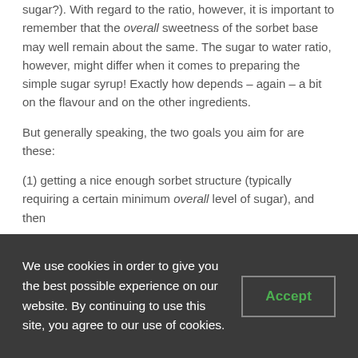sugar?). With regard to the ratio, however, it is important to remember that the overall sweetness of the sorbet base may well remain about the same. The sugar to water ratio, however, might differ when it comes to preparing the simple sugar syrup! Exactly how depends – again – a bit on the flavour and on the other ingredients.
But generally speaking, the two goals you aim for are these:
(1) getting a nice enough sorbet structure (typically requiring a certain minimum overall level of sugar), and then
(2) a sensation of sweetness that matches your desire for the flavour (depending on the flavour)
We use cookies in order to give you the best possible experience on our website. By continuing to use this site, you agree to our use of cookies.